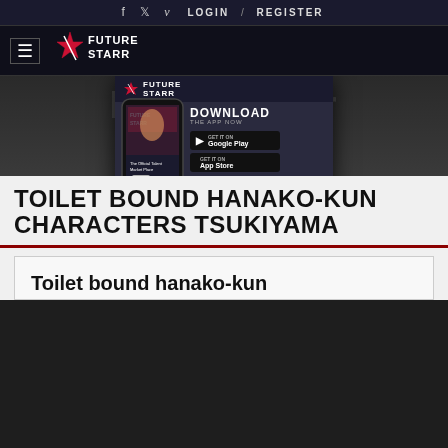f  ·  Twitter  ·  v  ·  LOGIN  /  REGISTER
[Figure (logo): FutureStarr logo with star icon and text FUTURE STARR]
[Figure (screenshot): FutureStarr app advertisement popup showing phone mockup, DOWNLOAD THE APP NOW with Google Play and App Store buttons, QR code, and steps to become a star]
Toilet bound hanako-kun characters tsukiyama
TOILET BOUND HANAKO-KUN CHARACTERS TSUKIYAMA
Toilet bound hanako-kun